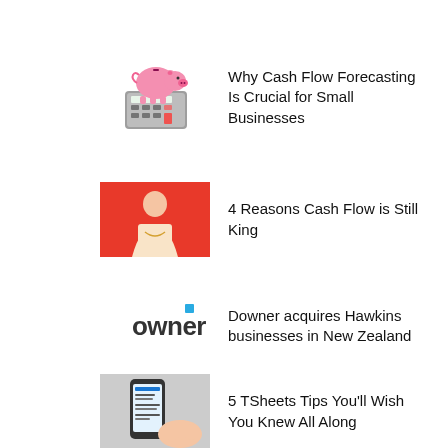[Figure (illustration): Piggy bank sitting on a calculator/device]
Why Cash Flow Forecasting Is Crucial for Small Businesses
[Figure (photo): Person on red background]
4 Reasons Cash Flow is Still King
[Figure (logo): Downer company logo]
Downer acquires Hawkins businesses in New Zealand
[Figure (screenshot): TSheets app screenshot on mobile device]
5 TSheets Tips You'll Wish You Knew All Along